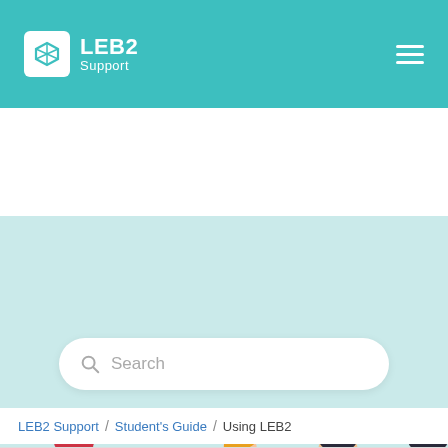LEB2 Support
[Figure (illustration): Hero banner with light blue/teal background, search bar with magnifying glass icon and 'Search' placeholder text, and illustrated figures of four people (cartoon style) at the bottom: a woman with red hair and green top, a man with hand raised, a man in red shirt with blond hair, a bearded man in teal shirt, and partial figure in red at far right.]
LEB2 Support / Student's Guide / Using LEB2